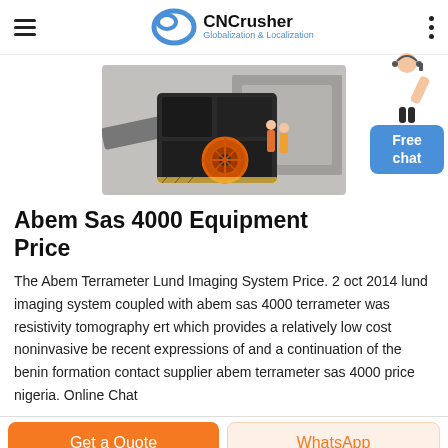CNCrusher – Globalization & Localization
[Figure (photo): Industrial crusher machine (impact/cone crusher) in a manufacturing or outdoor setting, dark metallic body with orange wheel detail]
Abem Sas 4000 Equipment Price
The Abem Terrameter Lund Imaging System Price. 2 oct 2014 lund imaging system coupled with abem sas 4000 terrameter was resistivity tomography ert which provides a relatively low cost noninvasive be recent expressions of and a continuation of the benin formation contact supplier abem terrameter sas 4000 price nigeria. Online Chat